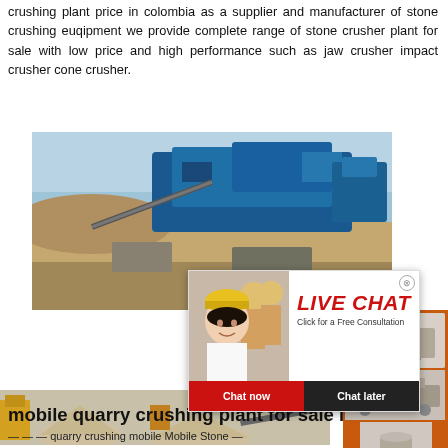crushing plant price in colombia as a supplier and manufacturer of stone crushing euqipment we provide complete range of stone crusher plant for sale with low price and high performance such as jaw crusher impact crusher cone crusher.
[Figure (photo): Outdoor stone crushing plant with blue machinery and equipment against a dusty landscape backdrop]
[Figure (screenshot): Live chat popup overlay showing a woman in a white shirt and hardhat with colleagues behind her, with 'LIVE CHAT - Click for a Free Consultation' heading, and 'Chat now' (red) and 'Chat later' (dark) buttons]
[Figure (infographic): Right sidebar orange advertisement showing crusher machine images, 'Enjoy 3% discount', 'Click to Chat', and 'Enquiry' sections]
[Figure (photo): 3D rendered illustration of a mobile quarry crushing plant layout]
mobile quarry crushing plant for sale in